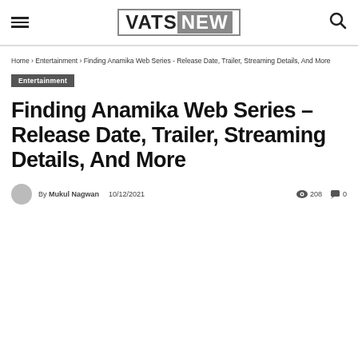VATSNEW
Home › Entertainment › Finding Anamika Web Series - Release Date, Trailer, Streaming Details, And More
Entertainment
Finding Anamika Web Series – Release Date, Trailer, Streaming Details, And More
By Mukul Nagwan  10/12/2021  208  0